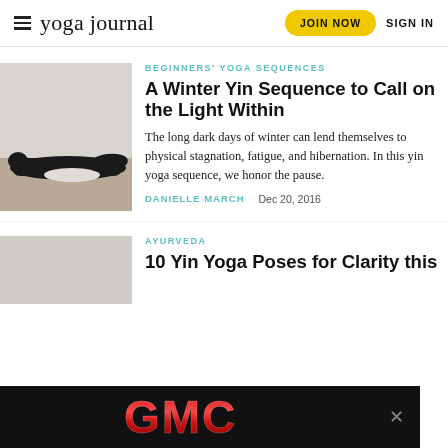yoga journal  JOIN NOW  SIGN IN
BEGINNERS' YOGA SEQUENCES
A Winter Yin Sequence to Call on the Light Within
The long dark days of winter can lend themselves to physical stagnation, fatigue, and hibernation. In this yin yoga sequence, we honor the pause.
DANIELLE MARCH   Dec 20, 2016
[Figure (photo): Person in black clothing performing a yin yoga pose lying on the floor]
AYURVEDA
10 Yin Yoga Poses for Clarity this
[Figure (photo): GMC advertisement banner with red GMC logo on black background]